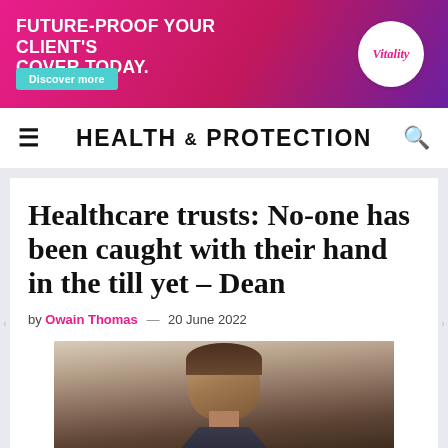[Figure (other): Vitality insurance advertisement banner. Pink/magenta gradient background with text 'FUTURE-PROOF YOUR CLIENT'S COVER TODAY.' and a 'Discover more' button. Vitality logo in white circle on right.]
HEALTH & PROTECTION
Healthcare trusts: No-one has been caught with their hand in the till yet – Dean
by Owain Thomas — 20 June 2022
[Figure (photo): Headshot photo of a man with dark hair wearing a suit, photographed outdoors.]